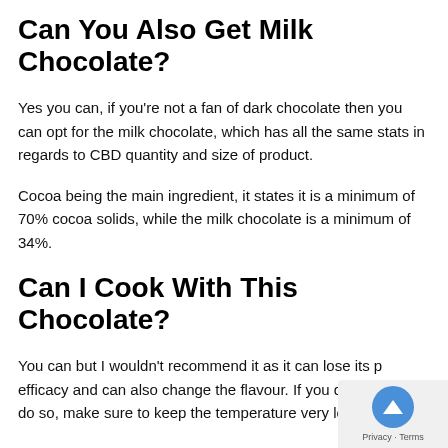Can You Also Get Milk Chocolate?
Yes you can, if you're not a fan of dark chocolate then you can opt for the milk chocolate, which has all the same stats in regards to CBD quantity and size of product.
Cocoa being the main ingredient, it states it is a minimum of 70% cocoa solids, while the milk chocolate is a minimum of 34%.
Can I Cook With This Chocolate?
You can but I wouldn't recommend it as it can lose its potency/efficacy and can also change the flavour. If you do decide to do so, make sure to keep the temperature very low and never...